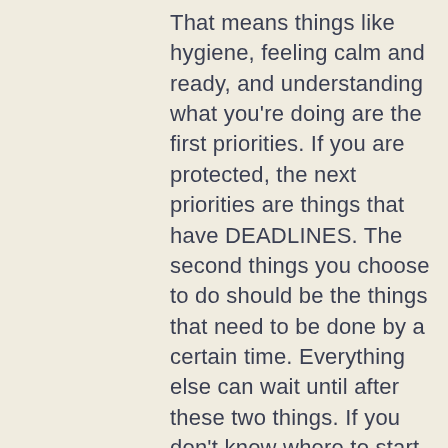That means things like hygiene, feeling calm and ready, and understanding what you're doing are the first priorities. If you are protected, the next priorities are things that have DEADLINES. The second things you choose to do should be the things that need to be done by a certain time. Everything else can wait until after these two things. If you don't know where to start with a project, my best advice is to start with what is EASIEST. By getting easy tasks done and moving them over to the “finished” pile or column (liked we talked about in the last question) you start to feel relief already. That way, when the challenging tasks are all that is left, you can approach them with